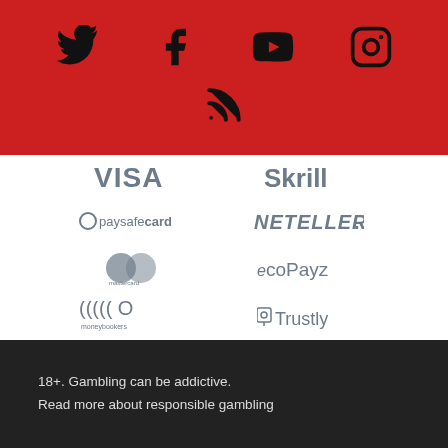[Figure (illustration): Social media icons (Twitter, Facebook, YouTube, Instagram, RSS) on red background]
[Figure (illustration): Payment method logos: VISA, Skrill, paysafecard, NETELLER, Mastercard, ecoPayz, moneybookers, Trustly on white background]
18+. Gambling can be addictive.
Read more about responsible gambling